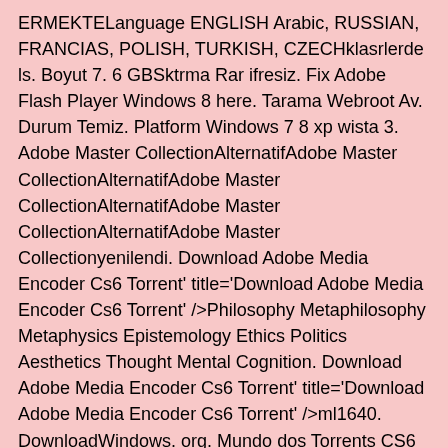ERMEKTELanguage ENGLISH Arabic, RUSSIAN, FRANCIAS, POLISH, TURKISH, CZECHklasrlerde ls. Boyut 7. 6 GBSktrma Rar ifresiz. Fix Adobe Flash Player Windows 8 here. Tarama Webroot Av. Durum Temiz. Platform Windows 7 8 xp wista 3. Adobe Master CollectionAlternatifAdobe Master CollectionAlternatifAdobe Master CollectionAlternatifAdobe Master CollectionAlternatifAdobe Master Collectionyenilendi. Download Adobe Media Encoder Cs6 Torrent' title='Download Adobe Media Encoder Cs6 Torrent' />Philosophy Metaphilosophy Metaphysics Epistemology Ethics Politics Aesthetics Thought Mental Cognition. Download Adobe Media Encoder Cs6 Torrent' title='Download Adobe Media Encoder Cs6 Torrent' />ml1640. DownloadWindows. org. Mundo dos Torrents CS6 Master Collection Torrent. Adobe CS6 Master Collection torrent Portugus. Seeders 1. 27. 5O software Adobe Creative Suite 6 traz uma nova experincia para o desenvolvimento de mdias digitais, para voc trabalhar na velocidade da luz e alcanar o pblico onde ele estiver. Agora, pela primeira vez, os aplicativos da CS esto disponveis no Adobe Creative Cloud, oferecendo a flexibilidade de baix los e instal los a